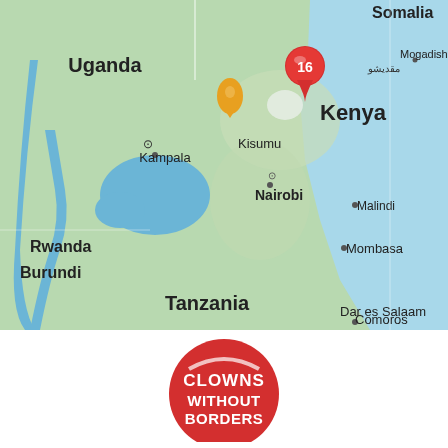[Figure (map): Google Maps view of East Africa showing Kenya, Uganda, Tanzania, Rwanda, Burundi, Somalia regions. A red map pin with number 16 is placed over Kenya, and an orange teardrop marker is near Kisumu. Cities labeled include Kampala, Kisumu, Nairobi, Malindi, Mombasa, Mogadishu, Dar es Salaam, Comoros.]
[Figure (logo): Clowns Without Borders logo - red circle with white text reading CLOWNS WITHOUT BORDERS]